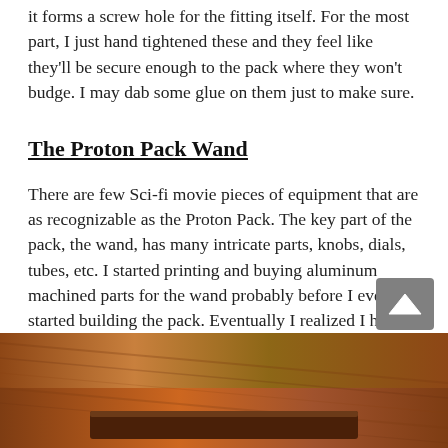it forms a screw hole for the fitting itself. For the most part, I just hand tightened these and they feel like they’ll be secure enough to the pack where they won’t budge. I may dab some glue on them just to make sure.
The Proton Pack Wand
There are few Sci-fi movie pieces of equipment that are as recognizable as the Proton Pack. The key part of the pack, the wand, has many intricate parts, knobs, dials, tubes, etc. I started printing and buying aluminum machined parts for the wand probably before I even started building the pack. Eventually I realized I had the bulk of the parts and started laying them out to assemble the wand.
[Figure (photo): Photo of wooden parts laid out on a wooden surface, showing components for the wand assembly]